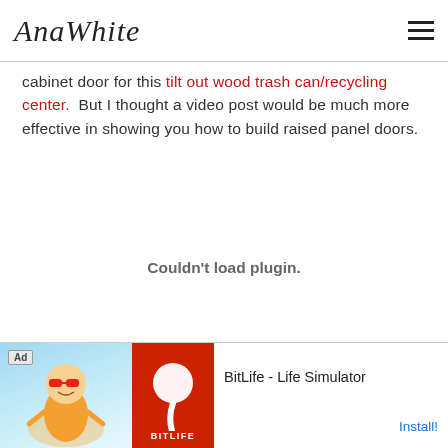AnaWhite
cabinet door for this tilt out wood trash can/recycling center.  But I thought a video post would be much more effective in showing you how to build raised panel doors.
[Figure (other): Video plugin area showing 'Couldn't load plugin.' message]
[Figure (other): Advertisement banner for BitLife - Life Simulator app with Install button]